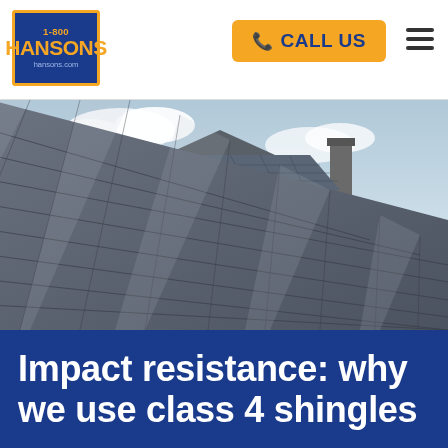1-800 HANSONS hansons.com — CALL US
[Figure (photo): Close-up of grey asphalt shingles on a rooftop in the foreground; a modern two-story house with slate roof, dormer windows, and chimney visible in the background against a partly cloudy sky.]
Impact resistance: why we use class 4 shingles